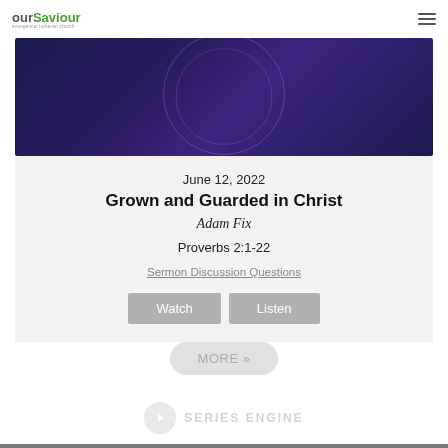ourSaviour
[Figure (illustration): Dark blue/purple gradient background with circular ring overlay, partial view of a sermon thumbnail image]
June 12, 2022
Grown and Guarded in Christ
Adam Fix
Proverbs 2:1-22
Sermon Discussion Questions
Watch   Listen
MORE »
[Figure (logo): Series Engine logo with play button icon and text SERIES ENGINE]